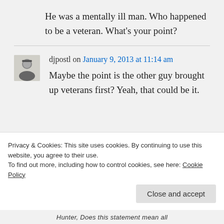He was a mentally ill man. Who happened to be a veteran. What's your point?
djpostl on January 9, 2013 at 11:14 am
Maybe the point is the other guy brought up veterans first? Yeah, that could be it.
Privacy & Cookies: This site uses cookies. By continuing to use this website, you agree to their use. To find out more, including how to control cookies, see here: Cookie Policy
Close and accept
Hunter, Does this statement mean all